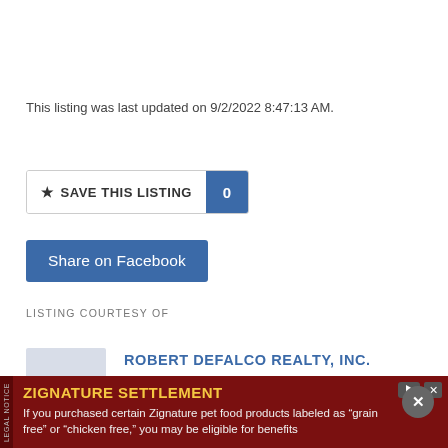This listing was last updated on 9/2/2022 8:47:13 AM.
★ SAVE THIS LISTING  0
Share on Facebook
LISTING COURTESY OF
[Figure (logo): Robert DeFalco Realty building logo placeholder icon in light blue-grey]
ROBERT DEFALCO REALTY, INC.
Office: (718) 987-7900
Web: http://www.defalcorealty.com
ZIGNATURE SETTLEMENT
If you purchased certain Zignature pet food products labeled as "grain free" or "chicken free," you may be eligible for benefits